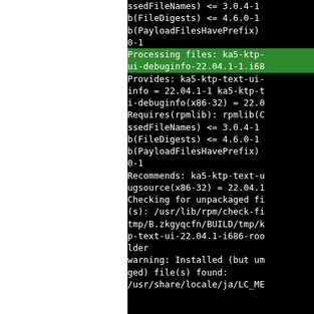ssedFileNames) <= 3.0.4-1
b(FileDigests) <= 4.6.0-1
b(PayloadFilesHavePrefix)
0-1
Processing files: ka5-ktp-ui-debuginfo-22.04.1-1.i68
Provides: ka5-ktp-text-ui-info = 22.04.1-1 ka5-ktp-i-debuginfo(x86-32) = 22.0
Requires(rpmlib): rpmlib(C ssedFileNames) <= 3.0.4-1
b(FileDigests) <= 4.6.0-1
b(PayloadFilesHavePrefix)
0-1
Recommends: ka5-ktp-text-uugsource(x86-32) = 22.04.1
Checking for unpackaged f(s): /usr/lib/rpm/check-ftmp/B.zkgyqcfn/BUILD/tmp/kp-text-ui-22.04.1-i686-roo lder
warning: Installed (but um ged) file(s) found:
/usr/share/locale/ja/LC_M